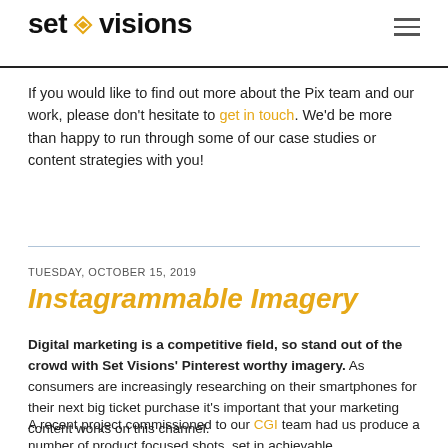[Figure (logo): Set Visions logo with diamond icon and hamburger menu]
If you would like to find out more about the Pix team and our work, please don't hesitate to get in touch. We'd be more than happy to run through some of our case studies or content strategies with you!
TUESDAY, OCTOBER 15, 2019
Instagrammable Imagery
Digital marketing is a competitive field, so stand out of the crowd with Set Visions' Pinterest worthy imagery. As consumers are increasingly researching on their smartphones for their next big ticket purchase it's important that your marketing content works on this channel.
A recent project commissioned to our CGI team had us produce a number of product focused shots, set in achievable